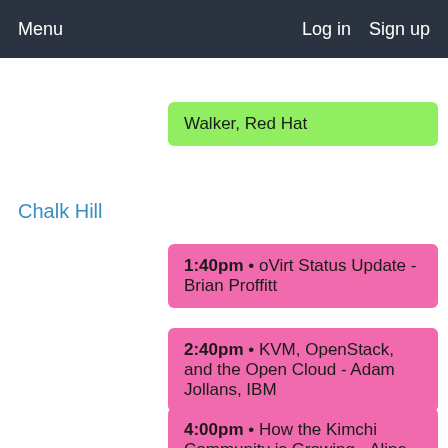Menu   Log in   Sign up
Walker, Red Hat
Chalk Hill
1:40pm • oVirt Status Update - Brian Proffitt
2:40pm • KVM, OpenStack, and the Open Cloud - Adam Jollans, IBM
4:00pm • How the Kimchi Community is Growing - Aline Manera, IBM